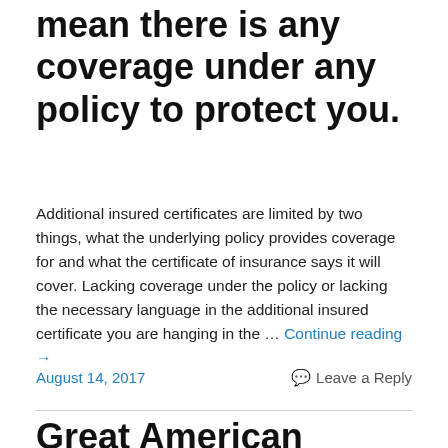mean there is any coverage under any policy to protect you.
Additional insured certificates are limited by two things, what the underlying policy provides coverage for and what the certificate of insurance says it will cover. Lacking coverage under the policy or lacking the necessary language in the additional insured certificate you are hanging in the … Continue reading →
August 14, 2017
Leave a Reply
Great American Alliance Insurance Company, Plaintiff, vs. Windermere Baptist